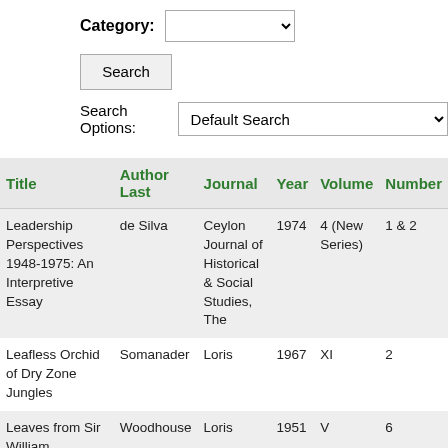Category: [dropdown]
Search
Search Options: Default Search
| Title | Author Last | Journal | Year | Volume | Number |
| --- | --- | --- | --- | --- | --- |
| Leadership Perspectives 1948-1975: An Interpretive Essay | de Silva | Ceylon Journal of Historical & Social Studies, The | 1974 | 4 (New Series) | 1 & 2 |
| Leafless Orchid of Dry Zone Jungles | Somanader | Loris | 1967 | XI | 2 |
| Leaves from Sir William Gregory's Autobiography | Woodhouse | Loris | 1951 | V | 6 |
| Leaves from the Past | De Vos | Journal of the | 1960 | I | 3 & 4 |